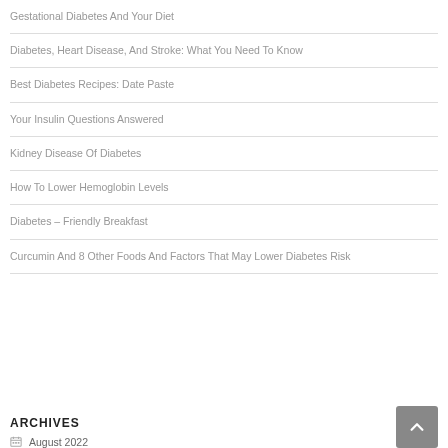Gestational Diabetes And Your Diet
Diabetes, Heart Disease, And Stroke: What You Need To Know
Best Diabetes Recipes: Date Paste
Your Insulin Questions Answered
Kidney Disease Of Diabetes
How To Lower Hemoglobin Levels
Diabetes – Friendly Breakfast
Curcumin And 8 Other Foods And Factors That May Lower Diabetes Risk
ARCHIVES
August 2022